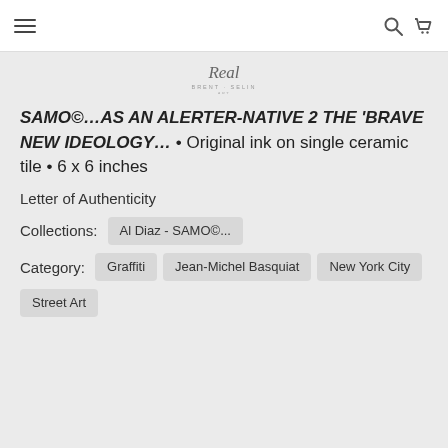Navigation bar with hamburger menu, search icon, and cart icon
[Figure (logo): Decorative script logo with text 'Real' and subtitle below]
SAMO©…AS AN ALERTER-NATIVE 2 THE 'BRAVE NEW IDEOLOGY… • Original ink on single ceramic tile • 6 x 6 inches
Letter of Authenticity
Collections:  Al Diaz - SAMO©...
Category:  Graffiti  Jean-Michel Basquiat  New York City  Street Art